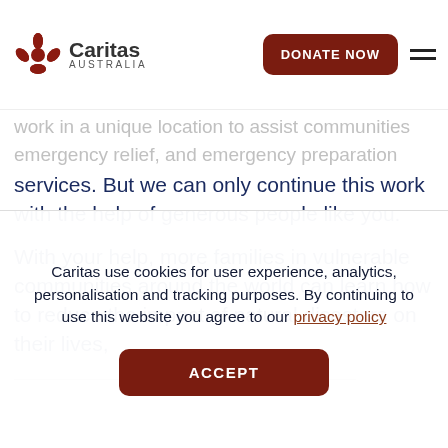[Figure (logo): Caritas Australia logo with red cross and text]
DONATE NOW
work in a unique location to assist communities ... emergency relief and emergency preparation services. But we can only continue this work with the help of generous people like you.
With your help, more families in vulnerable communities around the world can learn how to reduce the impact of natural disasters on their lives,
Caritas use cookies for user experience, analytics, personalisation and tracking purposes. By continuing to use this website you agree to our privacy policy
ACCEPT